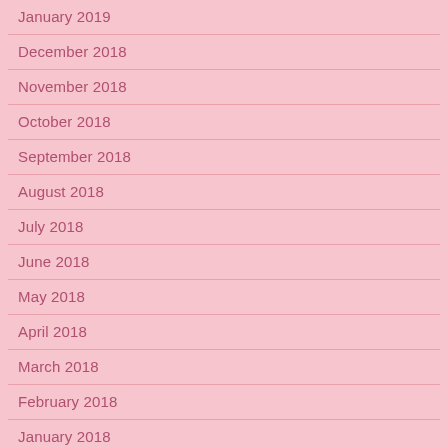January 2019
December 2018
November 2018
October 2018
September 2018
August 2018
July 2018
June 2018
May 2018
April 2018
March 2018
February 2018
January 2018
December 2017
November 2017